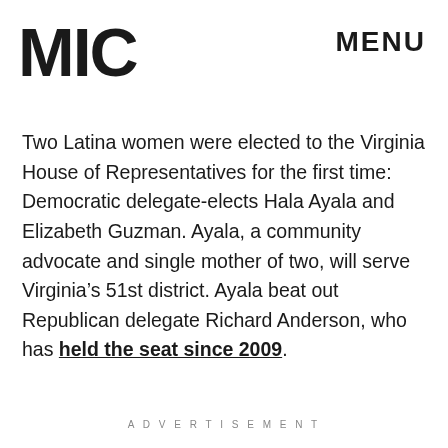MIC   MENU
Two Latina women were elected to the Virginia House of Representatives for the first time: Democratic delegate-elects Hala Ayala and Elizabeth Guzman. Ayala, a community advocate and single mother of two, will serve Virginia’s 51st district. Ayala beat out Republican delegate Richard Anderson, who has held the seat since 2009.
ADVERTISEMENT